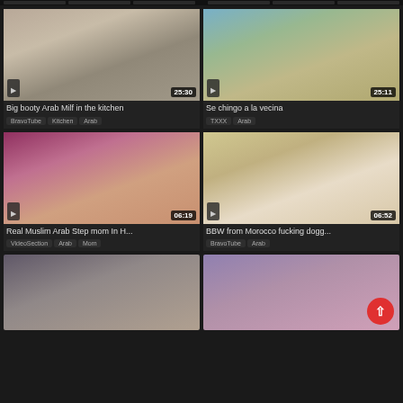[Figure (screenshot): Video thumbnail grid showing adult video website with 4 video cards and 2 partial bottom thumbnails. Cards show video thumbnails with duration badges, titles, and category tags.]
Big booty Arab Milf in the kitchen
BravoTube  Kitchen  Arab
Se chingo a la vecina
TXXX  Arab
Real Muslim Arab Step mom In H...
VideoSection  Arab  Mom
BBW from Morocco fucking dogg...
BravoTube  Arab